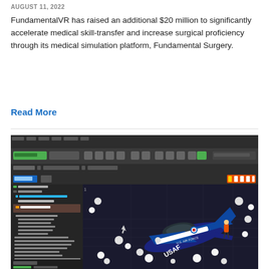AUGUST 11, 2022
FundamentalVR has raised an additional $20 million to significantly accelerate medical skill-transfer and increase surgical proficiency through its medical simulation platform, Fundamental Surgery.
Read More
[Figure (screenshot): Screenshot of a 3D simulation development environment (likely Unreal Engine) showing a U.S. Air Force USAF aircraft being assembled or simulated with white sphere physics objects scattered around it, in a dark 3D viewport with a component hierarchy panel on the left.]